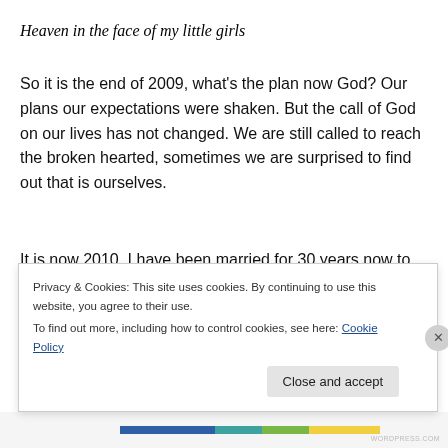Heaven in the face of my little girls
So it is the end of 2009, what’s the plan now God? Our plans our expectations were shaken. But the call of God on our lives has not changed. We are still called to reach the broken hearted, sometimes we are surprised to find out that is ourselves.
It is now 2010. I have been married for 30 years now to Jenny. She is still my lover and best friend. We are partners in love, ministry, and life. We are still waiting
Privacy & Cookies: This site uses cookies. By continuing to use this website, you agree to their use.
To find out more, including how to control cookies, see here: Cookie Policy